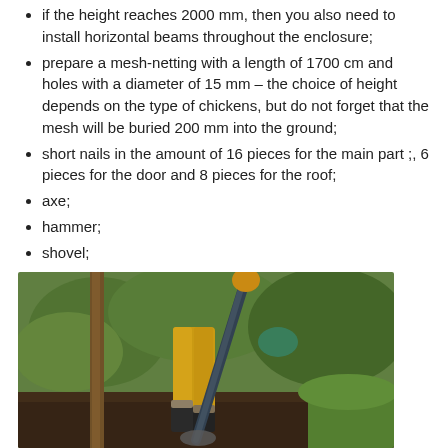if the height reaches 2000 mm, then you also need to install horizontal beams throughout the enclosure;
prepare a mesh-netting with a length of 1700 cm and holes with a diameter of 15 mm – the choice of height depends on the type of chickens, but do not forget that the mesh will be buried 200 mm into the ground;
short nails in the amount of 16 pieces for the main part ;, 6 pieces for the door and 8 pieces for the roof;
axe;
hammer;
shovel;
lock-bolt on the door.
[Figure (photo): Person wearing yellow pants and rubber boots digging with a shovel in a garden setting with green plants in the background.]